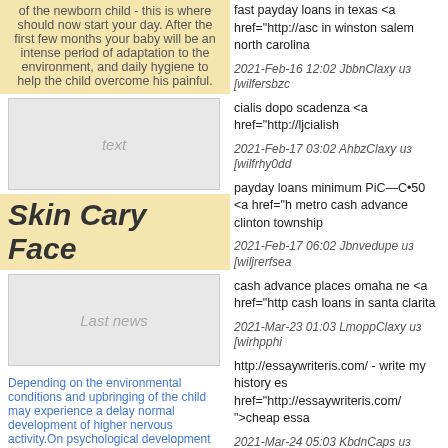of the newborn child - this is where should now start your day. After the first few months your baby will be an intense period of adaptation to the environment, and daily hygiene to help the child overcome his painful.
[Figure (other): Gray placeholder box with italic text label]
Skin Cary Face
[Figure (other): Gray placeholder box with italic text label]
Depending on the environmental conditions and upbringing of the child may experience a delay normal development of higher nervous activity.On psychological development is also affected, it is often significantly delaying child's
fast payday loans in texas <a href="http://asc in winston salem north carolina
2021-Feb-16 12:02 JbbnClaxy из [wilfersbzc
cialis dopo scadenza <a href="http://ljcialish
2021-Feb-17 03:02 AhbzClaxy из [wilfrhy0dd
payday loans minimum РёС—С•50 <a href="h metro cash advance clinton township
2021-Feb-17 06:02 Jbnvedupe из [wiljrerfsea
cash advance places omaha ne <a href="http cash loans in santa clarita
2021-Mar-23 01:03 LmoppClaxy из [wirhpphi
http://essaywriteris.com/ - write my history es href="http://essaywriteris.com/ ">cheap essa
2021-Mar-24 05:03 KbdnCaps из [wilndrgscr
https://papersonlinebox.com/ - paying someo href="http://papersonlinebox.com/ ">best coll superiorpapers
2021-Apr-03 06:04 FbshClaxy из [wiljdhfegds
https://thesisacloud.com/ - writing a thesis pa ">phd thesis help</a> college thesis
2021-Apr-23 07:04 Rfvbcoaps из [esbqhdf